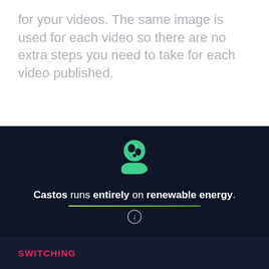for your videos. The same image is used for each video so there are no extra steps you need to take for each video published.
[Figure (illustration): Green hand holding a green globe icon on a dark navy background, with a yellow-green underline accent and an info (i) circle icon below the renewable energy text.]
Castos runs entirely on renewable energy.
SWITCHING